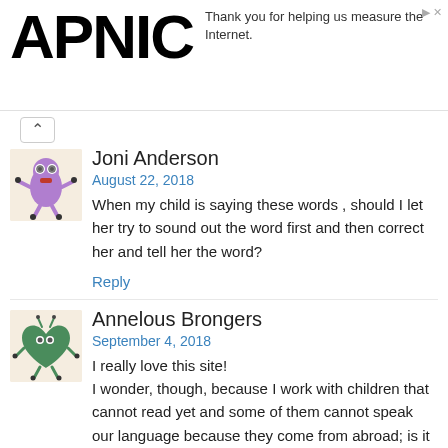APNIC — Thank you for helping us measure the Internet.
[Figure (illustration): Purple cartoon monster avatar for Joni Anderson]
Joni Anderson
August 22, 2018
When my child is saying these words , should I let her try to sound out the word first and then correct her and tell her the word?
Reply
[Figure (illustration): Green heart-shaped cartoon monster avatar for Annelous Brongers]
Annelous Brongers
September 4, 2018
I really love this site!
I wonder, though, because I work with children that cannot read yet and some of them cannot speak our language because they come from abroad; is it also possible to expand the